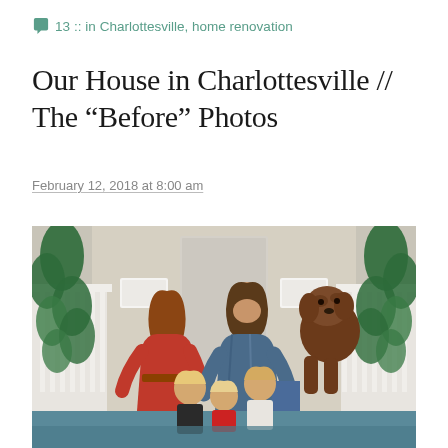13 :: in Charlottesville, home renovation
Our House in Charlottesville // The “Before” Photos
February 12, 2018 at 8:00 am
[Figure (photo): Family photo on a porch: a woman in a red dress and a man in a plaid shirt sit with three young children and a brown fluffy dog in front of a house door decorated with Christmas greenery.]